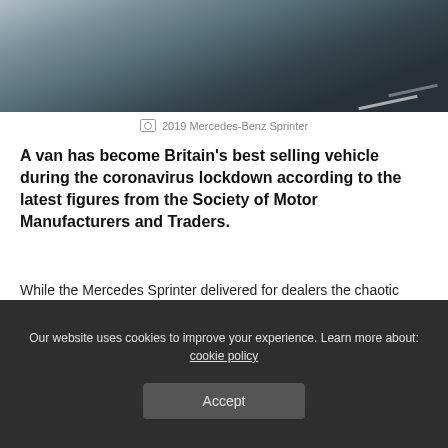[Figure (photo): Photo of a 2019 Mercedes-Benz Sprinter van driving on a road]
2019 Mercedes-Benz Sprinter
A van has become Britain's best selling vehicle during the coronavirus lockdown according to the latest figures from the Society of Motor Manufacturers and Traders.
While the Mercedes Sprinter delivered for dealers the chaotic charts saw the pure electric Tesla Model 3 top the passenger car list, but even that couldn't match the Sprinter.
[Figure (photo): Photo of a suburban street with houses]
Our website uses cookies to improve your experience. Learn more about: cookie policy
Accept